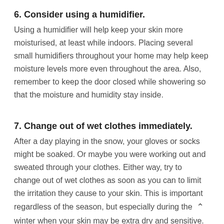6. Consider using a humidifier.
Using a humidifier will help keep your skin more moisturised, at least while indoors. Placing several small humidifiers throughout your home may help keep moisture levels more even throughout the area. Also, remember to keep the door closed while showering so that the moisture and humidity stay inside.
7. Change out of wet clothes immediately.
After a day playing in the snow, your gloves or socks might be soaked. Or maybe you were working out and sweated through your clothes. Either way, try to change out of wet clothes as soon as you can to limit the irritation they cause to your skin. This is important regardless of the season, but especially during the winter when your skin may be extra dry and sensitive.